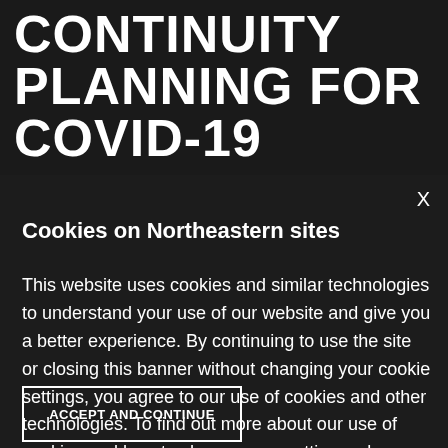CONTINUITY PLANNING FOR COVID-19
X
Cookies on Northeastern sites
This website uses cookies and similar technologies to understand your use of our website and give you a better experience. By continuing to use the site or closing this banner without changing your cookie settings, you agree to our use of cookies and other technologies. To find out more about our use of cookies and how to change your settings, please go to our .
ACCEPT AND CONTINUE